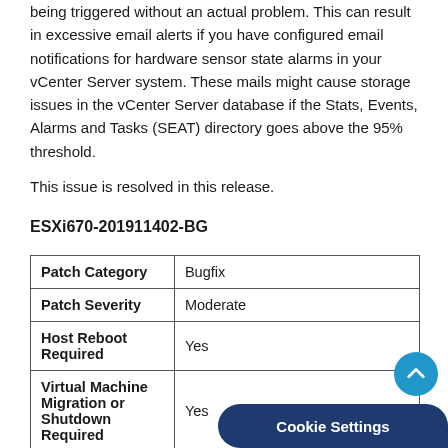being triggered without an actual problem. This can result in excessive email alerts if you have configured email notifications for hardware sensor state alarms in your vCenter Server system. These mails might cause storage issues in the vCenter Server database if the Stats, Events, Alarms and Tasks (SEAT) directory goes above the 95% threshold.

This issue is resolved in this release.
ESXi670-201911402-BG
|  |  |
| --- | --- |
| Patch Category | Bugfix |
| Patch Severity | Moderate |
| Host Reboot Required | Yes |
| Virtual Machine Migration or Shutdown Required | Yes |
| Affected |  |